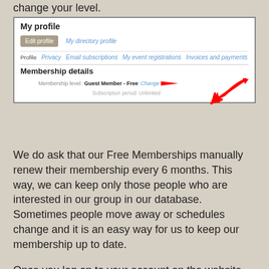change your level.
[Figure (screenshot): Screenshot of a membership profile page showing 'My profile' header, Edit profile button, My directory profile link, navigation tabs (Profile, Privacy, Email subscriptions, My event registrations, Invoices and payments), Membership details section with Membership level: Guest Member - Free with a Change link highlighted by a red arrow, and Subscription period: Unlimited.]
We do ask that our Free Memberships manually renew their membership every 6 months. This way, we can keep only those people who are interested in our group in our database. Sometimes people move away or schedules change and it is an easy way for us to keep our membership up to date.
Once you log on to your account on the website, please click the button to renew and follow the prompts. It will ask you to fill out your profile but only one question is required. That is all we ask every 6 months!